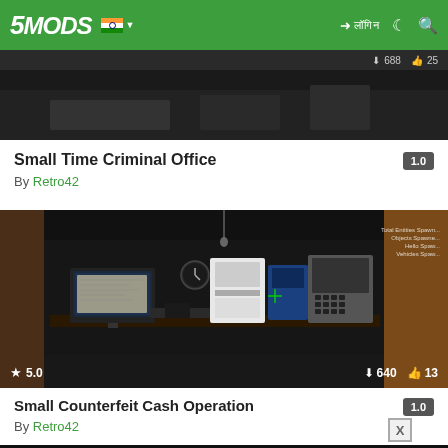5MODS
[Figure (screenshot): Partial top of a mod listing card image, dark background]
Small Time Criminal Office  1.0
By Retro42
[Figure (screenshot): Dark room interior screenshot from GTA mod showing office with computer monitors, equipment, overlays showing Total Entities Spawned, Objects Spawned, Hello Spawner, Vehicles Spawner. Rating 5.0, Downloads 640, Likes 13]
Small Counterfeit Cash Operation  1.0
By Retro42
[Figure (screenshot): Partial bottom card image beginning to show, dark screenshot]